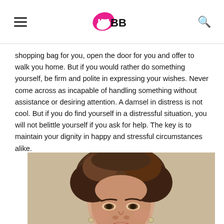IMBB
shopping bag for you, open the door for you and offer to walk you home. But if you would rather do something yourself, be firm and polite in expressing your wishes. Never come across as incapable of handling something without assistance or desiring attention. A damsel in distress is not cool. But if you do find yourself in a distressful situation, you will not belittle yourself if you ask for help. The key is to maintain your dignity in happy and stressful circumstances alike.
[Figure (photo): Close-up portrait of a woman with styled short brown hair, wearing earrings, looking at the camera with a neutral expression against a light background.]